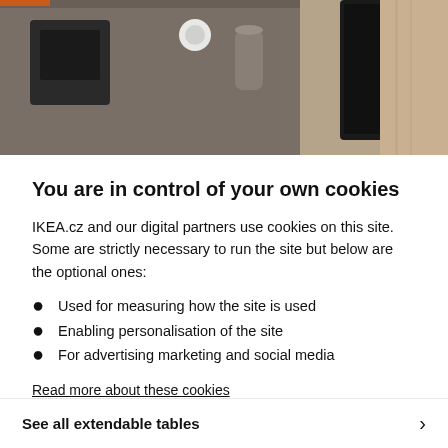[Figure (photo): Partial view of a living room interior with a TV unit, speaker, and beige curtains in the background — IKEA product setting.]
You are in control of your own cookies
IKEA.cz and our digital partners use cookies on this site. Some are strictly necessary to run the site but below are the optional ones:
Used for measuring how the site is used
Enabling personalisation of the site
For advertising marketing and social media
Read more about these cookies
Accept All Cookies   Cookies Settings
See all extendable tables